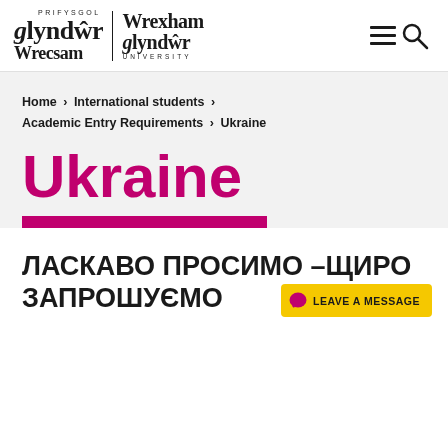[Figure (logo): Wrexham Glyndŵr University bilingual logo with Welsh (Prifysgol Glyndŵr Wrecsam) and English (Wrexham Glyndŵr University) text]
Home > International students > Academic Entry Requirements > Ukraine
Ukraine
ЛАСКАВО ПРОСИМО –ЩИРО ЗАПРОШУЄМО